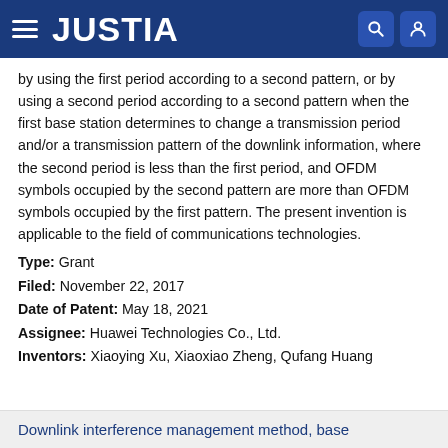JUSTIA
by using the first period according to a second pattern, or by using a second period according to a second pattern when the first base station determines to change a transmission period and/or a transmission pattern of the downlink information, where the second period is less than the first period, and OFDM symbols occupied by the second pattern are more than OFDM symbols occupied by the first pattern. The present invention is applicable to the field of communications technologies.
Type: Grant
Filed: November 22, 2017
Date of Patent: May 18, 2021
Assignee: Huawei Technologies Co., Ltd.
Inventors: Xiaoying Xu, Xiaoxiao Zheng, Qufang Huang
Downlink interference management method, base